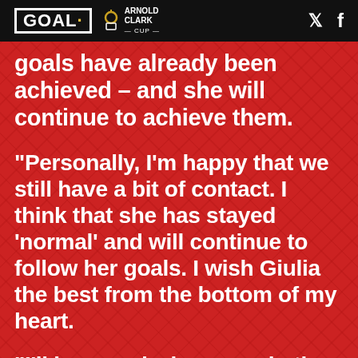GOAL | Arnold Clark Cup
goals have already been achieved – and she will continue to achieve them.
“Personally, I’m happy that we still have a bit of contact. I think that she has stayed ‘normal’ and will continue to follow her goals. I wish Giulia the best from the bottom of my heart.
“I’ll be proud when we win the European Championship in England in the summer and we have players like Giulia in the